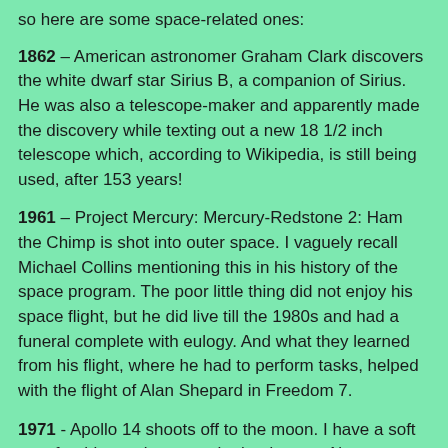so here are some space-related ones:
1862 – American astronomer Graham Clark discovers the white dwarf star Sirius B, a companion of Sirius. He was also a telescope-maker and apparently made the discovery while texting out a new 18 1/2 inch telescope which, according to Wikipedia, is still being used, after 153 years!
1961 – Project Mercury: Mercury-Redstone 2: Ham the Chimp is shot into outer space. I vaguely recall Michael Collins mentioning this in his history of the space program. The poor little thing did not enjoy his space flight, but he did live till the 1980s and had a funeral complete with eulogy. And what they learned from his flight, where he had to perform tasks, helped with the flight of Alan Shepard in Freedom 7.
1971 - Apollo 14 shoots off to the moon. I have a soft spot for this one because the leader was Alan Shepard, who had missed out after the Mercury program due to health issues. He had recovered and finally got to go to the moon.